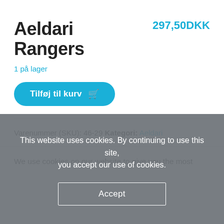Aeldari Rangers
297,50DKK
1 på lager
Tilføj til kurv
Varenummer (SKU): 46-29 Kategori: Aeldari
We use cookies on our website to give you the most
This website uses cookies. By continuing to use this site, you accept our use of cookies.
Accept